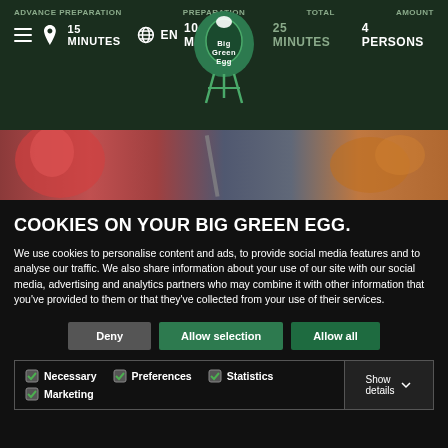ADVANCE PREPARATION 15 MINUTES | PREPARATION 10 MINUTES | TOTAL 25 MINUTES | AMOUNT 4 PERSONS
[Figure (logo): Big Green Egg logo centered in dark green navigation bar]
[Figure (photo): Food preparation photo strip showing grilled/cut food items]
COOKIES ON YOUR BIG GREEN EGG.
We use cookies to personalise content and ads, to provide social media features and to analyse our traffic. We also share information about your use of our site with our social media, advertising and analytics partners who may combine it with other information that you’ve provided to them or that they’ve collected from your use of their services.
Deny | Allow selection | Allow all
Necessary | Preferences | Statistics | Marketing | Show details